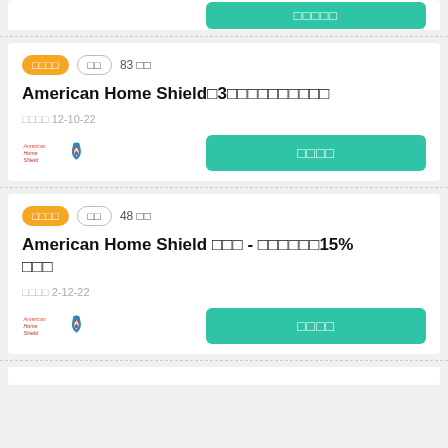[Figure (logo): American Home Shield logo with teal button partial card at top]
□□□□ □□ 83 □□
American Home Shield□3□□□□□□□□□□
□□□□ 12-10-22
[Figure (logo): American Home Shield logo]
□□□□
□□□□ □□ 48 □□
American Home Shield □□□ - □□□□□□15% □□□
□□□□ 2-12-22
[Figure (logo): American Home Shield logo]
□□□□